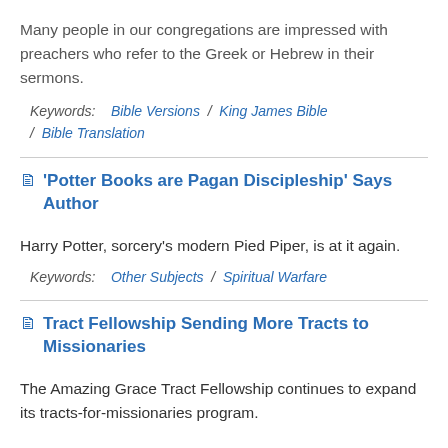Many people in our congregations are impressed with preachers who refer to the Greek or Hebrew in their sermons.
Keywords: Bible Versions / King James Bible / Bible Translation
'Potter Books are Pagan Discipleship' Says Author
Harry Potter, sorcery's modern Pied Piper, is at it again.
Keywords: Other Subjects / Spiritual Warfare
Tract Fellowship Sending More Tracts to Missionaries
The Amazing Grace Tract Fellowship continues to expand its tracts-for-missionaries program.